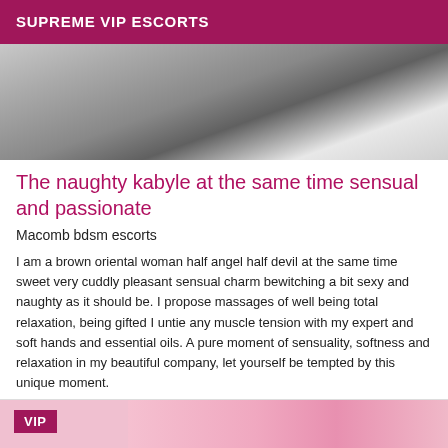SUPREME VIP ESCORTS
[Figure (photo): Partial body photo in dark and white tones, cropped top portion of a person]
The naughty kabyle at the same time sensual and passionate
Macomb bdsm escorts
I am a brown oriental woman half angel half devil at the same time sweet very cuddly pleasant sensual charm bewitching a bit sexy and naughty as it should be. I propose massages of well being total relaxation, being gifted I untie any muscle tension with my expert and soft hands and essential oils. A pure moment of sensuality, softness and relaxation in my beautiful company, let yourself be tempted by this unique moment.
[Figure (photo): Bottom portion showing VIP badge and pink-toned partial photo]